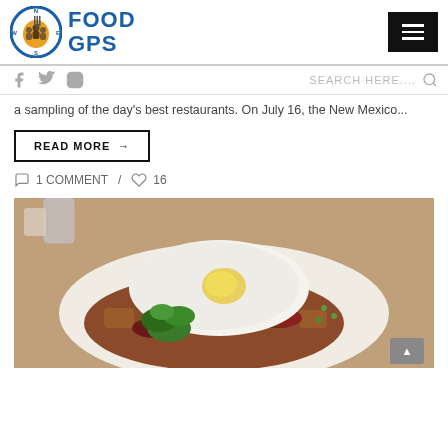FOOD GPS
a sampling of the day's best restaurants. On July 16, the New Mexico...
READ MORE →
1 COMMENT / 16
[Figure (photo): A plate of food with a fried egg on top of meat hash, garnished with parsley, on a white plate.]